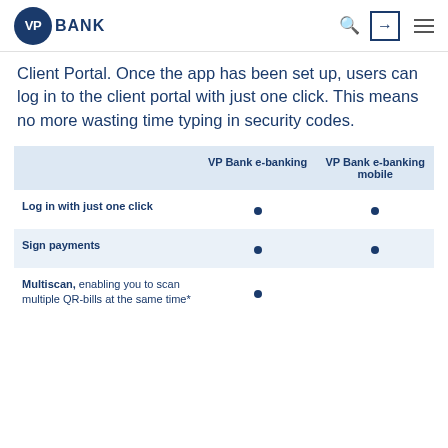VP Bank
Client Portal. Once the app has been set up, users can log in to the client portal with just one click. This means no more wasting time typing in security codes.
|  | VP Bank e-banking | VP Bank e-banking mobile |
| --- | --- | --- |
| Log in with just one click | • | • |
| Sign payments | • | • |
| Multiscan, enabling you to scan multiple QR-bills at the same time* | • |  |